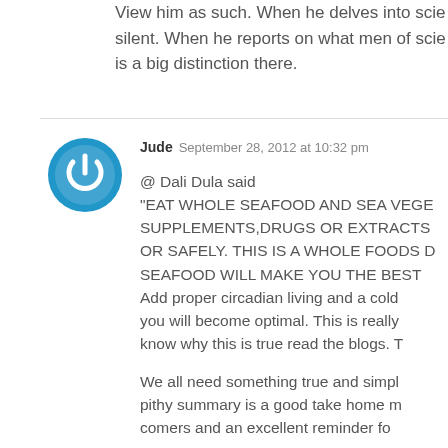View him as such. When he delves into scie silent. When he reports on what men of scie is a big distinction there.
Jude  September 28, 2012 at 10:32 pm
@ Dali Dula said
"EAT WHOLE SEAFOOD AND SEA VEGE SUPPLEMENTS,DRUGS OR EXTRACTS OR SAFELY. THIS IS A WHOLE FOODS D SEAFOOD WILL MAKE YOU THE BEST Add proper circadian living and a cold you will become optimal. This is really know why this is true read the blogs. T

We all need something true and simpl pithy summary is a good take home m comers and an excellent reminder fo